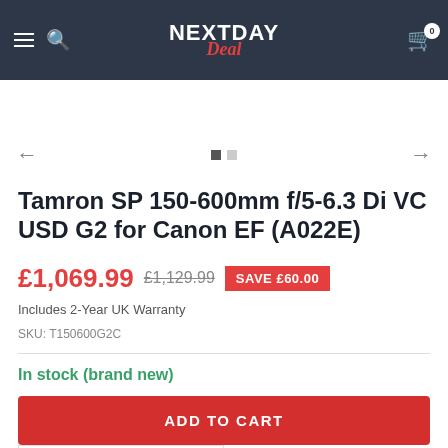NEXTDAY Deal
Tamron SP 150-600mm f/5-6.3 Di VC USD G2 for Canon EF (A022E)
£1,069.99  £1,129.99  SAVE £60.00
Includes 2-Year UK Warranty
SKU: T150600G2C
In stock (brand new)
ADD TO CART
— 1 +